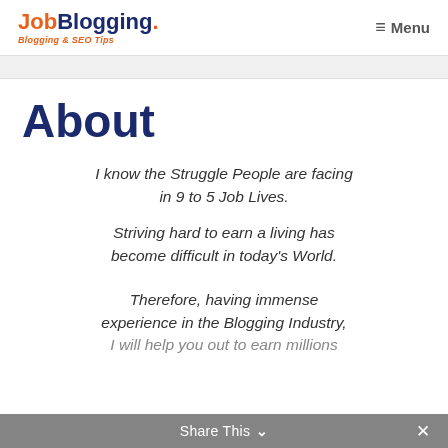JobBlogging. Blogging & SEO Tips  ≡ Menu
About
I know the Struggle People are facing in 9 to 5 Job Lives.
Striving hard to earn a living has become difficult in today's World.
Therefore, having immense experience in the Blogging Industry, I will help you out to earn millions
Share This  ✕